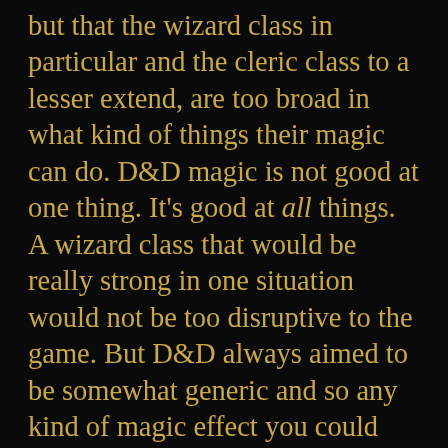but that the wizard class in particular and the cleric class to a lesser extend, are too broad in what kind of things their magic can do. D&D magic is not good at one thing. It's good at all things. A wizard class that would be really strong in one situation would not be too disruptive to the game. But D&D always aimed to be somewhat generic and so any kind of magic effect you could think of is available to wizards and clerics. Simply so that you can make the kind of spellcaster that you want to make, regardless of what work of fiction inspired you. Later 3rd edition classes that have a much more tighter focus on specific fields of magic are widely regarded as much better classes when it comes to being a team player.